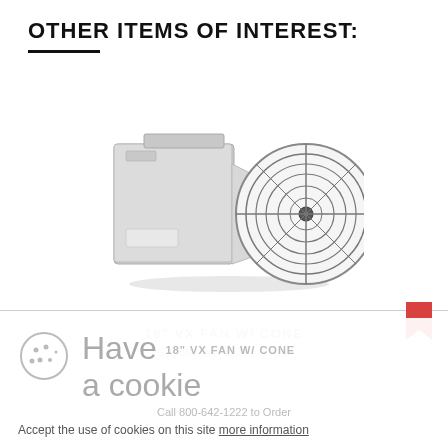OTHER ITEMS OF INTEREST:
[Figure (photo): 18 inch VX exhaust fan with cone, white metal housing, circular wire guard grill on front, mounted on wall bracket, product photo on white background]
18" VX FAN W/ CONE
Call 800-642-1222 to Order
Have a cookie
Accept the use of cookies on this site more information
I Accept